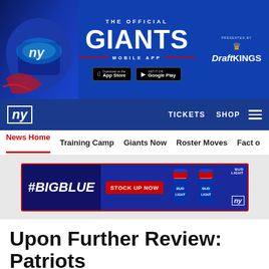[Figure (illustration): The Official Giants Mobile App banner ad with helmet graphic, App Store and Google Play buttons, presented by DraftKings. Blue background with giant text.]
ny  TICKETS  SHOP
News Home  Training Camp  Giants Now  Roster Moves  Fact o
[Figure (illustration): #BIGBLUE STOCK UP NOW - Bud Light NFL ad banner with cans and NY Giants logo]
Upon Further Review: Patriots
Aug 30, 2012 at 09:42 AM